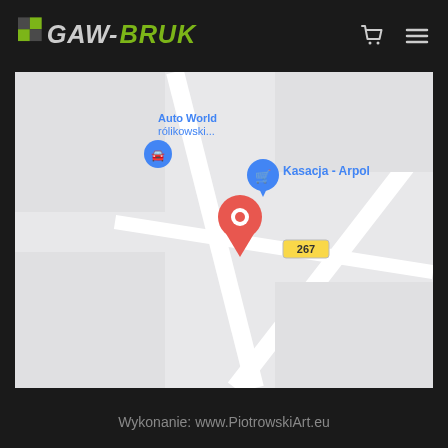GAW-BRUK
[Figure (map): Google Maps screenshot showing a location pin (red marker) on a road intersection. Nearby places labeled include 'Auto World Królikowski...' with a car icon and 'Kasacja - Arpol' with a shopping cart icon. A road labeled '267' is visible. The map background is light grey with white roads.]
Wykonanie: www.PiotrowskiArt.eu